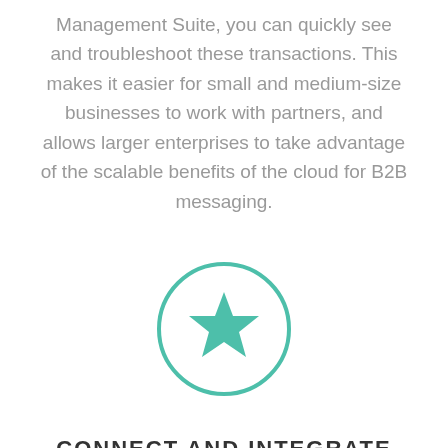Management Suite, you can quickly see and troubleshoot these transactions. This makes it easier for small and medium-size businesses to work with partners, and allows larger enterprises to take advantage of the scalable benefits of the cloud for B2B messaging.
[Figure (illustration): A teal/green circle outline with a solid teal star icon in the center]
CONNECT AND INTEGRATE